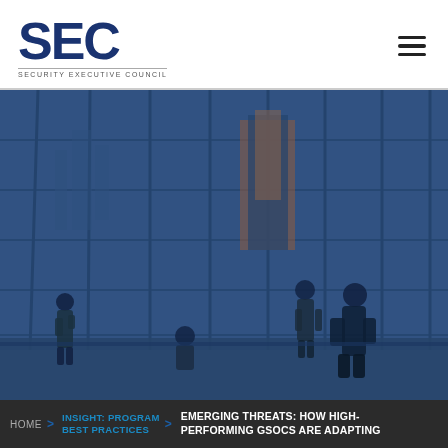[Figure (logo): SEC Security Executive Council logo with large blue SEC letters and subtitle text]
[Figure (photo): Blue-tinted photo of business people walking in front of a large glass curtain wall building with city skyline reflections, viewed from outside]
HOME > INSIGHT: PROGRAM BEST PRACTICES > EMERGING THREATS: HOW HIGH-PERFORMING GSOCS ARE ADAPTING